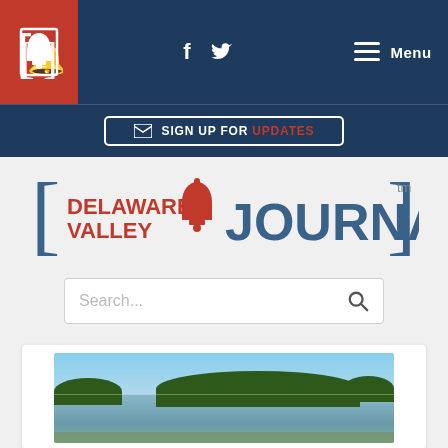Delaware Valley Journal - Navigation bar with logo, social icons (f, Twitter), and Menu
SIGN UP FOR UPDATES
[Figure (logo): Delaware Valley Journal logo with liberty bell icon, brackets, and tm mark]
Search...
[Figure (photo): Outdoor landscape photo of a calm river or lake with green tree-lined shores and blue sky]